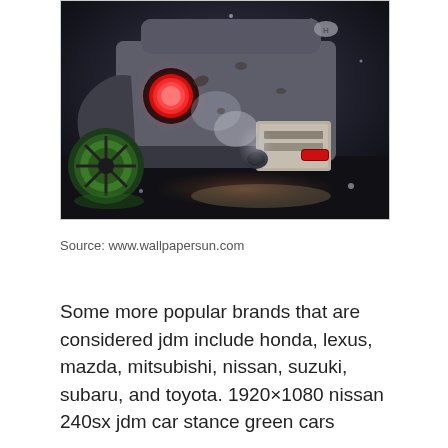[Figure (photo): Rear view of a modified JDM car (Nissan 240SX / S15 style) with green wheels, red taillights glowing, exhaust smoke, wet dark pavement, dramatic lighting]
Source: www.wallpapersun.com
Some more popular brands that are considered jdm include honda, lexus, mazda, mitsubishi, nissan, suzuki, subaru, and toyota. 1920×1080 nissan 240sx jdm car stance green cars